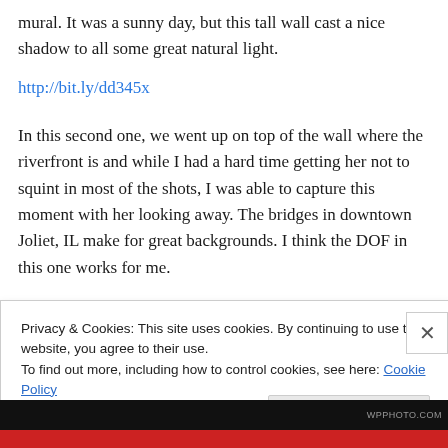mural. It was a sunny day, but this tall wall cast a nice shadow to all some great natural light.
http://bit.ly/dd345x
In this second one, we went up on top of the wall where the riverfront is and while I had a hard time getting her not to squint in most of the shots, I was able to capture this moment with her looking away. The bridges in downtown Joliet, IL make for great backgrounds. I think the DOF in this one works for me.
Privacy & Cookies: This site uses cookies. By continuing to use this website, you agree to their use.
To find out more, including how to control cookies, see here: Cookie Policy